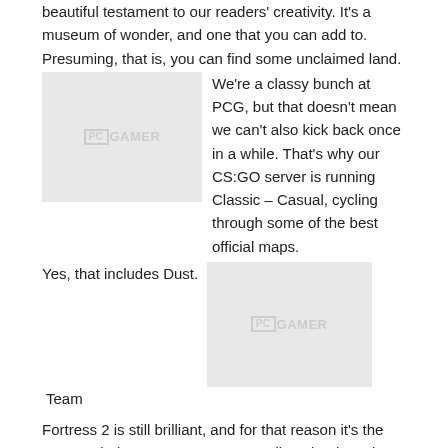beautiful testament to our readers' creativity. It's a museum of wonder, and one that you can add to. Presuming, that is, you can find some unclaimed land.
[Figure (logo): PC Gamer logo placeholder image, grey rectangle]
We're a classy bunch at PCG, but that doesn't mean we can't also kick back once in a while. That's why our CS:GO server is running Classic – Casual, cycling through some of the best official maps.
Yes, that includes Dust.
[Figure (logo): PC Gamer logo placeholder image, grey rectangle]
Team Fortress 2 is still brilliant, and for that reason it's the most enduring game on our server list. Thanks to its age there's a great map pool to pick from, and our 24-player server runs through eighteen of the best. No,